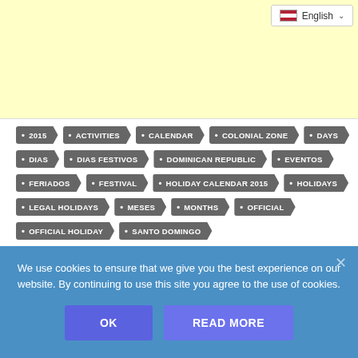[Figure (other): Yellow advertisement banner area with English language selector dropdown in top-right corner]
• 2015  • ACTIVITIES  • CALENDAR  • COLONIAL ZONE  • DAYS
• DIAS  • DIAS FESTIVOS  • DOMINICAN REPUBLIC  • EVENTOS
• FERIADOS  • FESTIVAL  • HOLIDAY CALENDAR 2015  • HOLIDAYS
• LEGAL HOLIDAYS  • MESES  • MONTHS  • OFFICIAL
• OFFICIAL HOLIDAY  • SANTO DOMINGO
We use cookies to ensure that we give you the best experience on our website. By continuing to use this site you agree to the use of cookies.